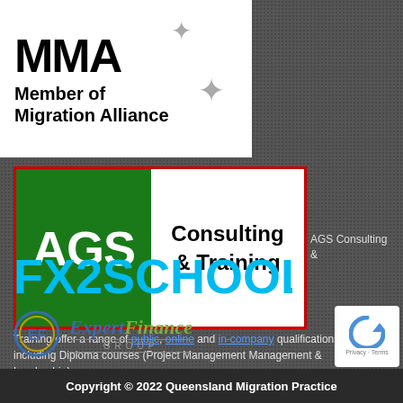[Figure (logo): MMA - Member of Migration Alliance logo with star decorations on white background]
[Figure (logo): AGS Consulting & Training logo - green background with white AGS text on left, black Consulting & Training text on right, red border]
AGS Consulting &
Training offer a range of public, online and in-company qualifications including Diploma courses (Project Management Management & Leadership).
[Figure (logo): FX2SCHOOL logo in cyan/blue gradient text]
[Figure (logo): Expert Finance Group logo with circular EF icon and stylized text]
[Figure (logo): reCAPTCHA badge with arrow icon and Privacy/Terms text]
Copyright © 2022 Queensland Migration Practice